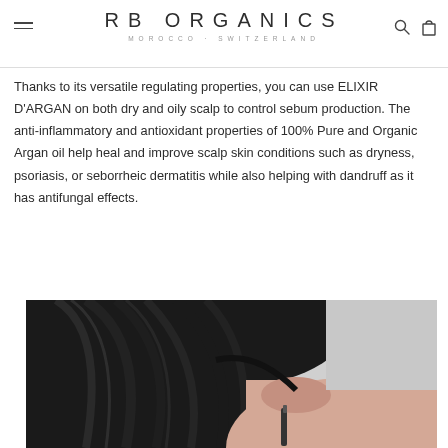RB ORGANICS · MOROCCO · SWITZERLAND
Thanks to its versatile regulating properties, you can use ELIXIR D'ARGAN on both dry and oily scalp to control sebum production. The anti-inflammatory and antioxidant properties of 100% Pure and Organic Argan oil help heal and improve scalp skin conditions such as dryness, psoriasis, or seborrheic dermatitis while also helping with dandruff as it has antifungal effects.
[Figure (photo): A person with dark hair applying or touching their scalp with a dropper/bottle, on a light grey background.]